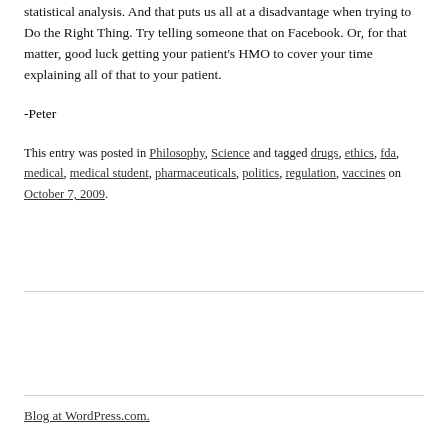statistical analysis. And that puts us all at a disadvantage when trying to Do the Right Thing. Try telling someone that on Facebook. Or, for that matter, good luck getting your patient's HMO to cover your time explaining all of that to your patient.
-Peter
This entry was posted in Philosophy, Science and tagged drugs, ethics, fda, medical, medical student, pharmaceuticals, politics, regulation, vaccines on October 7, 2009.
Blog at WordPress.com.